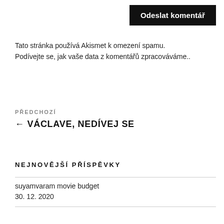Odeslat komentář
Tato stránka používá Akismet k omezení spamu. Podívejte se, jak vaše data z komentářů zpracováváme..
PŘEDCHOZÍ
← VÁCLAVE, NEDÍVEJ SE
NEJNOVĚJŠÍ PŘÍSPĚVKY
suyamvaram movie budget
30. 12. 2020